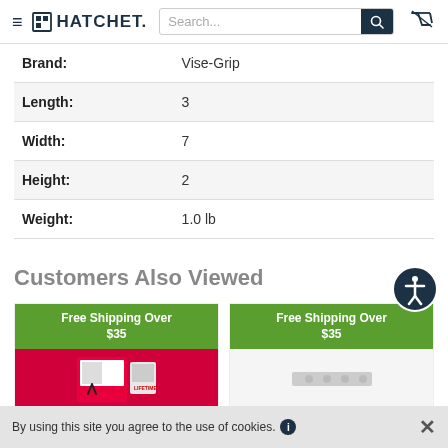HATCHET — navigation header with search bar and cart icon
| Attribute | Value |
| --- | --- |
| Brand: | Vise-Grip |
| Length: | 3 |
| Width: | 7 |
| Height: | 2 |
| Weight: | 1.0 lb |
Customers Also Viewed
[Figure (photo): Product card with green 'Free Shipping Over $35' banner and product image (pliers in red packaging)]
[Figure (photo): Product card with green 'Free Shipping Over $35' banner and product image (metal piece on white background)]
By using this site you agree to the use of cookies.